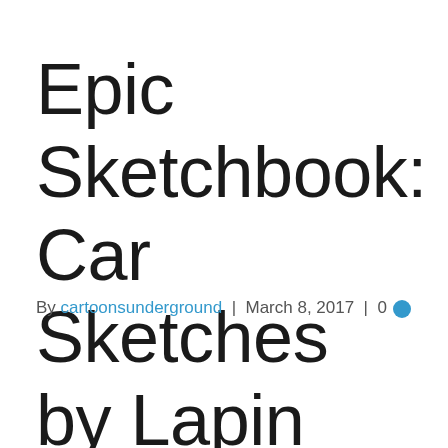Epic Sketchbook: Car Sketches by Lapin and Sagar
By cartoonsunderground | March 8, 2017 | 0